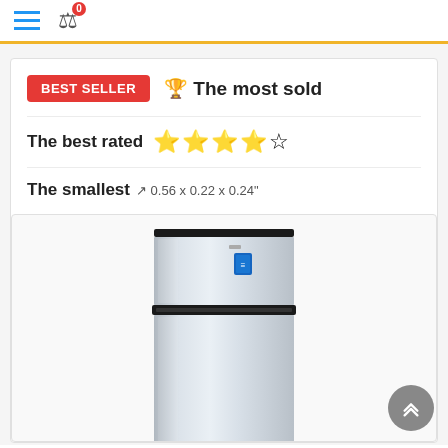Navigation bar with hamburger menu and compare icon (0 items)
BEST SELLER 🏆 The most sold
The best rated ★★★★☆
The smallest 📐 0.56 x 0.22 x 0.24"
[Figure (photo): Photo of a stainless steel top-freezer refrigerator]